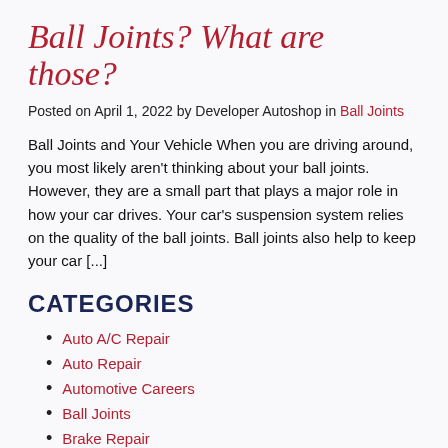Ball Joints? What are those?
Posted on April 1, 2022 by Developer Autoshop in Ball Joints
Ball Joints and Your Vehicle When you are driving around, you most likely aren't thinking about your ball joints. However, they are a small part that plays a major role in how your car drives. Your car's suspension system relies on the quality of the ball joints. Ball joints also help to keep your car [...]
CATEGORIES
Auto A/C Repair
Auto Repair
Automotive Careers
Ball Joints
Brake Repair